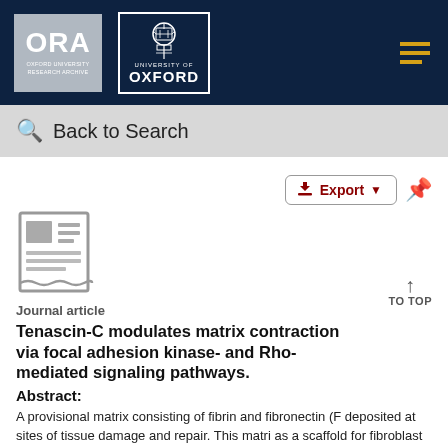[Figure (logo): ORA Oxford University Research Archive logo (grey box) and University of Oxford crest logo (white border box) on dark navy header bar with hamburger menu icon]
Back to Search
[Figure (illustration): Grey document/article icon]
Journal article
Tenascin-C modulates matrix contraction via focal adhesion kinase- and Rho-mediated signaling pathways.
Abstract:
A provisional matrix consisting of fibrin and fibronectin (F deposited at sites of tissue damage and repair. This matri as a scaffold for fibroblast migration into the wound where these